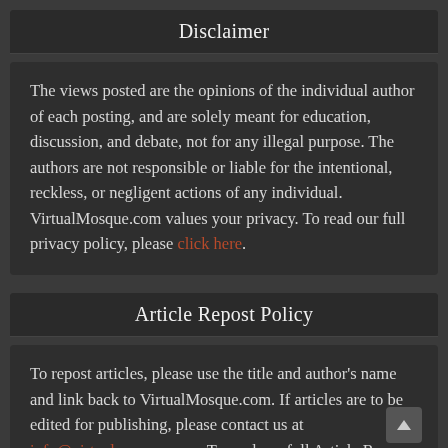Disclaimer
The views posted are the opinions of the individual author of each posting, and are solely meant for education, discussion, and debate, not for any illegal purpose. The authors are not responsible or liable for the intentional, reckless, or negligent actions of any individual. VirtualMosque.com values your privacy. To read our full privacy policy, please click here.
Article Repost Policy
To repost articles, please use the title and author's name and link back to VirtualMosque.com. If articles are to be edited for publishing, please contact us at info@virtualmosque.com. To read our full Article Re...